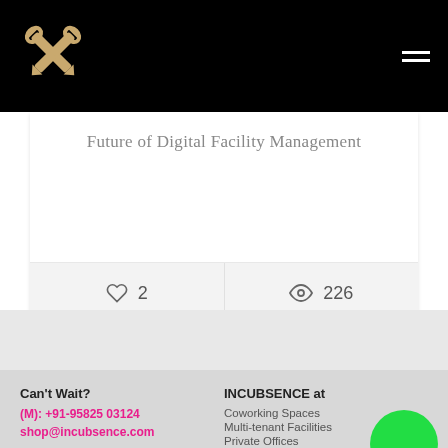[Figure (logo): Crossed wrenches logo icon in gold/tan color on black background]
[Figure (other): Hamburger menu icon (three horizontal lines) in white on black background]
Future of Digital Facility Management
♡ 2
👁 226
Can't Wait?
(M): +91-95825 03124
shop@incubsence.com
INCUBSENCE at
Coworking Spaces
Multi-tenant Facilities
Private Offices